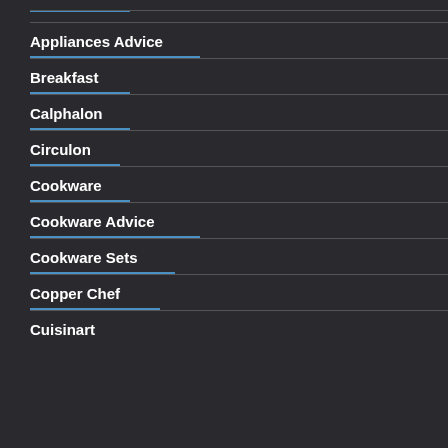Appliances Advice
Breakfast
Calphalon
Circulon
Cookware
Cookware Advice
Cookware Sets
Copper Chef
Cuisinart